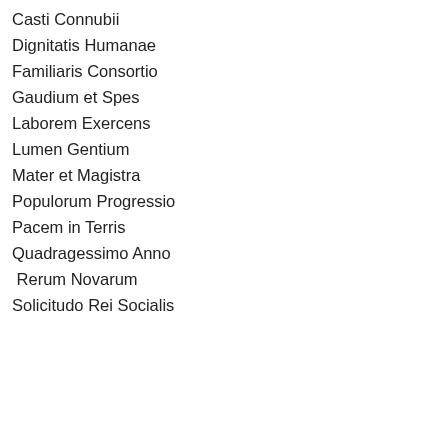Casti Connubii
Dignitatis Humanae
Familiaris Consortio
Gaudium et Spes
Laborem Exercens
Lumen Gentium
Mater et Magistra
Populorum Progressio
Pacem in Terris
Quadragessimo Anno
Rerum Novarum
Solicitudo Rei Socialis